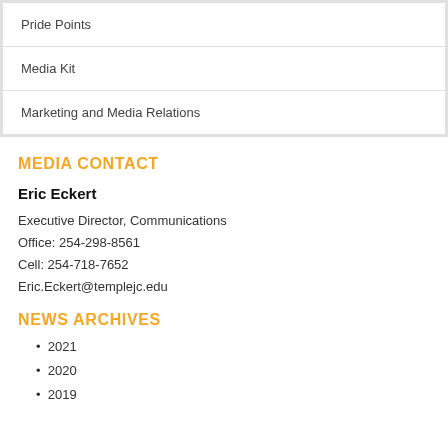| Pride Points |
| Media Kit |
| Marketing and Media Relations |
MEDIA CONTACT
Eric Eckert
Executive Director, Communications
Office: 254-298-8561
Cell: 254-718-7652
Eric.Eckert@templejc.edu
NEWS ARCHIVES
2021
2020
2019